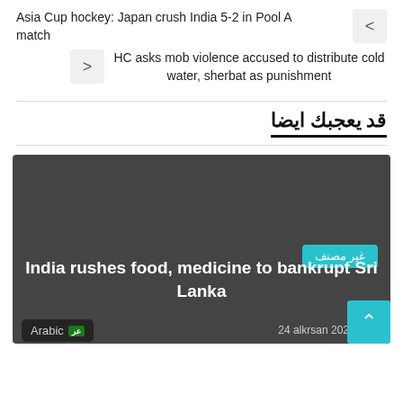Asia Cup hockey: Japan crush India 5-2 in Pool A match
HC asks mob violence accused to distribute cold water, sherbat as punishment
قد يعجبك ايضا
[Figure (photo): Dark grey image card for news article about India rushes food, medicine to bankrupt Sri Lanka]
غير مصنف
India rushes food, medicine to bankrupt Sri Lanka
24 alkrsan يونيو 2022